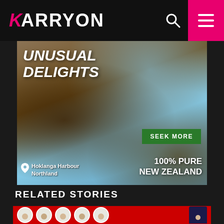KARRYON
[Figure (photo): Tourism New Zealand advertisement showing children looking up at camera with text 'UNUSUAL DELIGHTS', 'SEEK MORE', '100% PURE NEW ZEALAND', location tag 'Hoklanga Harbour Northland']
RELATED STORIES
[Figure (photo): Story card showing airline crew members in uniform on red background]